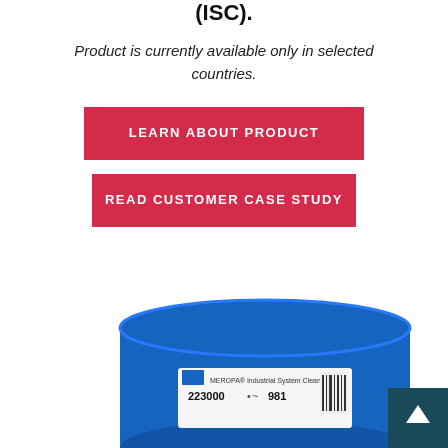(ISC).
Product is currently available only in selected countries.
LEARN ABOUT PRODUCT
READ CUSTOMER CASE STUDY
[Figure (photo): Blue industrial drum/barrel with a product label showing number 223000 981, partially visible, with a dark teal back-to-top arrow button in the bottom right corner.]